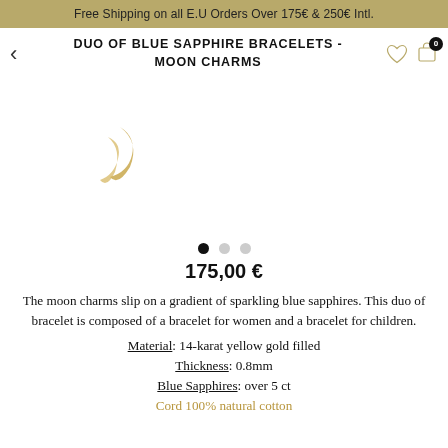Free Shipping on all E.U Orders Over 175€ & 250€ Intl.
DUO OF BLUE SAPPHIRE BRACELETS - MOON CHARMS
[Figure (illustration): Partial view of gold bracelet with moon charm decoration on white background]
175,00 €
The moon charms slip on a gradient of sparkling blue sapphires. This duo of bracelet is composed of a bracelet for women and a bracelet for children.
Material: 14-karat yellow gold filled
Thickness: 0.8mm
Blue Sapphires: over 5 ct
Cord 100% natural cotton